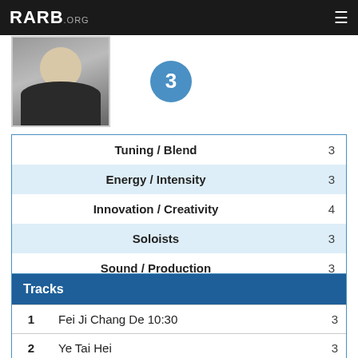RARB.ORG
[Figure (photo): Profile photo of a person smiling, with a circular badge showing the number 3]
| Category | Score |
| --- | --- |
| Tuning / Blend | 3 |
| Energy / Intensity | 3 |
| Innovation / Creativity | 4 |
| Soloists | 3 |
| Sound / Production | 3 |
| Repeat Listenability | 3 |
| Tracks |  |
| --- | --- |
| 1 | Fei Ji Chang De 10:30 | 3 |
| 2 | Ye Tai Hei | 3 |